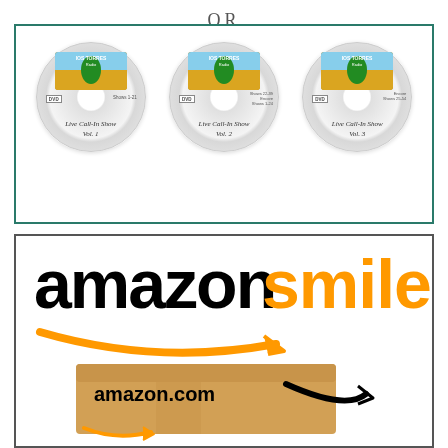OR
[Figure (illustration): Three DVD discs labeled 'Live Call-In Show Vol. 1', 'Vol. 2', and 'Vol. 3' with a decorative label showing a tree and Roman soldier on each disc]
[Figure (logo): Amazon Smile logo with 'amazon' in black and 'smile' in orange, with the Amazon smile arrow, and an Amazon.com shipping box below]